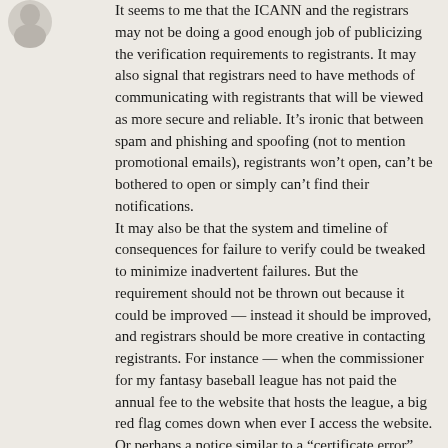[Figure (illustration): Partial avatar/profile image in top-left corner]
It seems to me that the ICANN and the registrars may not be doing a good enough job of publicizing the verification requirements to registrants. It may also signal that registrars need to have methods of communicating with registrants that will be viewed as more secure and reliable. It’s ironic that between spam and phishing and spoofing (not to mention promotional emails), registrants won’t open, can’t be bothered to open or simply can’t find their notifications.
It may also be that the system and timeline of consequences for failure to verify could be tweaked to minimize inadvertent failures. But the requirement should not be thrown out because it could be improved — instead it should be improved, and registrars should be more creative in contacting registrants. For instance — when the commissioner for my fantasy baseball league has not paid the annual fee to the website that hosts the league, a big red flag comes down when ever I access the website. Or perhaps a notice similar to a “certificate error” notice should be generated.
None of this is to minimize the issue. Rather it is to